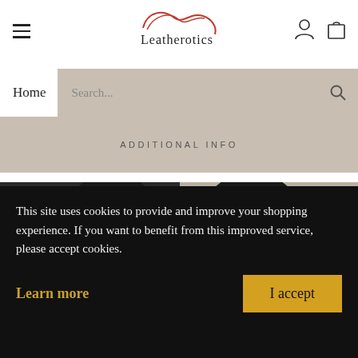[Figure (screenshot): Leatherotics website header with hamburger menu, logo with red decorative script above 'Leatherotics' text, user account icon and shopping bag icon on the right]
[Figure (screenshot): Search bar with 'Home' navigation link on left and search input box with magnifier icon on beige/tan background]
ADDITIONAL INFO
[Figure (photo): Black leather head mask/hood with mouth opening and studs, held by a hand, left navigation arrow visible]
[Figure (photo): Black leather head mask/hood with straps and hardware, right navigation arrow visible, Leatherotics watermark]
This site uses cookies to provide and improve your shopping experience. If you want to benefit from this improved service, please accept cookies.
Learn more
I accept